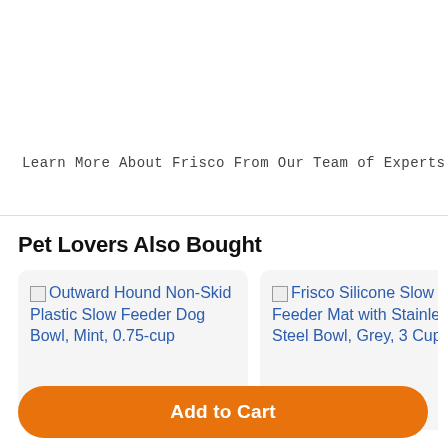Learn More About Frisco From Our Team of Experts
Pet Lovers Also Bought
[Figure (screenshot): Product card for Outward Hound Non-Skid Plastic Slow Feeder Dog Bowl, Mint, 0.75-cup with broken image placeholder]
[Figure (screenshot): Product card for Frisco Silicone Slow Feeder Mat with Stainless Steel Bowl, Grey, 3 Cups with broken image placeholder]
Add to Cart